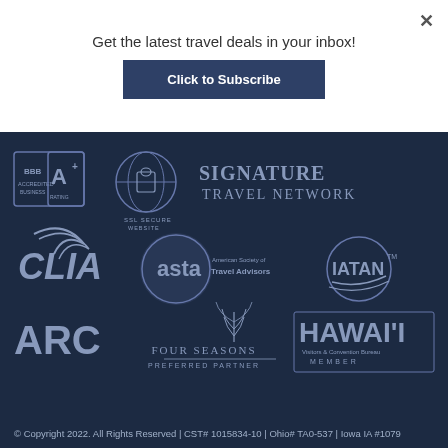Get the latest travel deals in your inbox!
Click to Subscribe
[Figure (logo): BBB Accredited Business A+ Rating logo, SSL Secure Website globe lock logo, Signature Travel Network logo, CLIA logo, ASTA American Society of Travel Advisors logo, IATAN logo, ARC logo, Four Seasons Preferred Partner logo, Hawaii Visitors & Convention Bureau Member logo]
© Copyright 2022. All Rights Reserved | CST# 1015834-10 | Ohio# TA0-537 | Iowa IA #1079